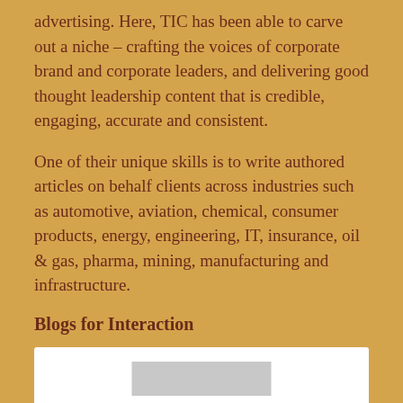advertising. Here, TIC has been able to carve out a niche – crafting the voices of corporate brand and corporate leaders, and delivering good thought leadership content that is credible, engaging, accurate and consistent.
One of their unique skills is to write authored articles on behalf clients across industries such as automotive, aviation, chemical, consumer products, energy, engineering, IT, insurance, oil & gas, pharma, mining, manufacturing and infrastructure.
Blogs for Interaction
[Figure (other): White box/panel at the bottom of the page, partially visible, with a grey rectangle inside]